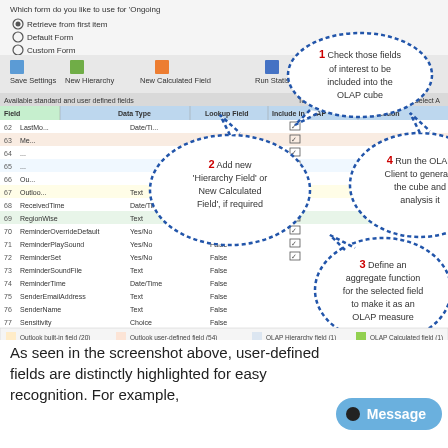[Figure (screenshot): Screenshot of an OLAP cube configuration dialog showing a table of Outlook fields with columns for Field Name, Data Type, Lookup Field, Include in OLAP, and Function. Callout bubbles numbered 1-4 annotate: 1) Check fields to include in OLAP cube, 2) Add new Hierarchy Field or New Calculated Field if required, 3) Define an aggregate function for the selected field to make it as an OLAP measure, 4) Run the OLAP Client to generate the cube and analysis it. Bottom legend shows color codes for Outlook built-in field (20), Outlook user-defined field (54), OLAP Hierarchy field (1), OLAP Calculated field (1).]
As seen in the screenshot above, user-defined fields are distinctly highlighted for easy recognition. For example,